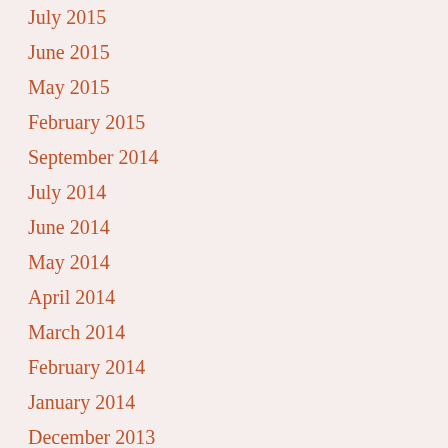July 2015
June 2015
May 2015
February 2015
September 2014
July 2014
June 2014
May 2014
April 2014
March 2014
February 2014
January 2014
December 2013
November 2013
February 2013
December 2012
November 2012